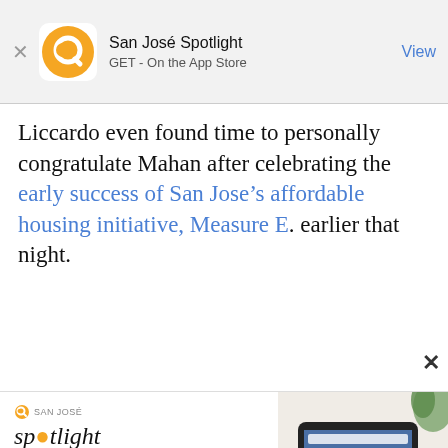San José Spotlight
GET - On the App Store
View
Liccardo even found time to personally congratulate Mahan after celebrating the early success of San Jose's affordable housing initiative, Measure E. earlier that night.
[Figure (screenshot): San José Spotlight app advertisement showing logo, headline 'Where San Jose locals start the day.' and sanjosespotlight.com URL with tablet image]
EMAIL ADDRESS
SUBSCRIBE
Thanks, I'm not interested or already a subscriber